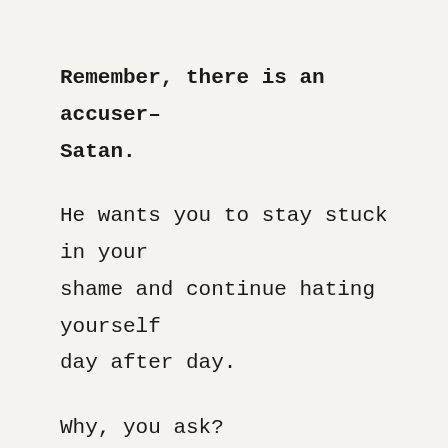Remember, there is an accuser–Satan.
He wants you to stay stuck in your shame and continue hating yourself day after day.
Why, you ask?
Because if he can keep you thinking about your sins and not allowing yourself to receive the